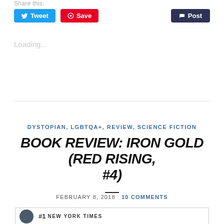Share this:
[Figure (screenshot): Social sharing buttons: Tweet (blue), Save (red/Pinterest), Post (dark blue/Tumblr)]
Loading...
DYSTOPIAN, LGBTQA+, REVIEW, SCIENCE FICTION
BOOK REVIEW: IRON GOLD (RED RISING, #4)
FEBRUARY 8, 2018  10 COMMENTS
#1 NEW YORK TIMES